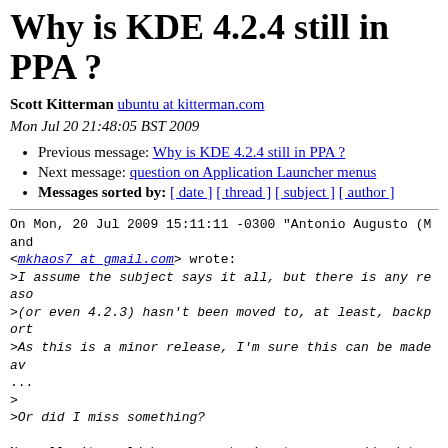Why is KDE 4.2.4 still in PPA ?
Scott Kitterman ubuntu at kitterman.com
Mon Jul 20 21:48:05 BST 2009
Previous message: Why is KDE 4.2.4 still in PPA ?
Next message: question on Application Launcher menus
Messages sorted by: [ date ] [ thread ] [ subject ] [ author ]
On Mon, 20 Jul 2009 15:11:11 -0300 "Antonio Augusto (Mand
<mkhaos7 at gmail.com> wrote:
>I assume the subject says it all, but there is any reaso
>(or even 4.2.3) hasn't been moved to, at least, backport
>As this is a minor release, I'm sure this can be made av
...
>
>Or did I miss something?
Normally it would have gone to jaunty-proposed/updates, but there's a disconnect between our Qt and KDE versions in Jaunty we have a regression that upstream will not support fixing. We pro be regression free, so 4.2.4 is not suitable for that rep
Since we intend to put 4.3.0 in jaunty-backports shortly, development team was excited about doing the work to get backports since it was already in the PPA.